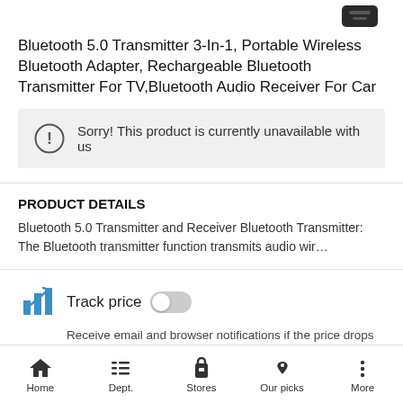[Figure (photo): Partial product image of a small black Bluetooth device at top of page]
Bluetooth 5.0 Transmitter 3-In-1, Portable Wireless Bluetooth Adapter, Rechargeable Bluetooth Transmitter For TV,Bluetooth Audio Receiver For Car
Sorry! This product is currently unavailable with us
PRODUCT DETAILS
Bluetooth 5.0 Transmitter and Receiver Bluetooth Transmitter: The Bluetooth transmitter function transmits audio wir…
[Figure (illustration): Bar chart icon in blue for Track price feature]
Track price
Receive email and browser notifications if the price drops
Since this product is no longer available, price track has been